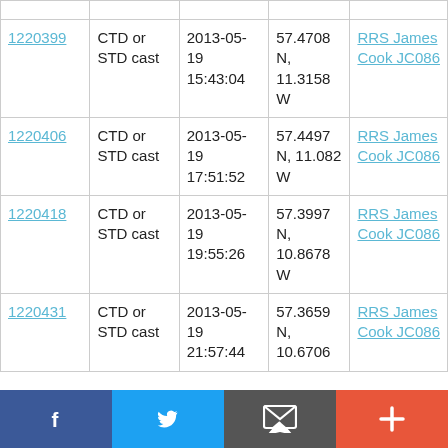| ID | Type | Date/Time | Position | Ship/Cruise |
| --- | --- | --- | --- | --- |
| 1220399 | CTD or STD cast | 2013-05-19 15:43:04 | 57.4708 N, 11.3158 W | RRS James Cook JC086 |
| 1220406 | CTD or STD cast | 2013-05-19 17:51:52 | 57.4497 N, 11.082 W | RRS James Cook JC086 |
| 1220418 | CTD or STD cast | 2013-05-19 19:55:26 | 57.3997 N, 10.8678 W | RRS James Cook JC086 |
| 1220431 | CTD or STD cast | 2013-05-19 21:57:44 | 57.3659 N, 10.6706 | RRS James Cook JC086 |